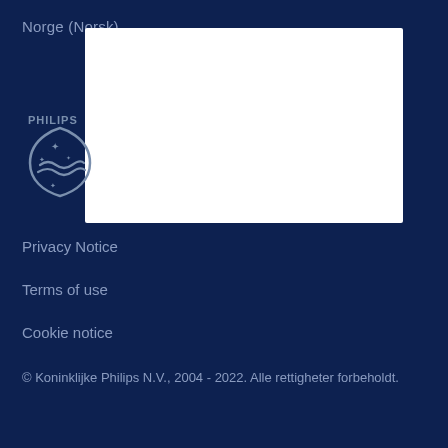Norge (Norsk)
[Figure (screenshot): Loading spinner icon (partial circle in grey) overlaid on white dropdown/modal box on dark navy background]
[Figure (logo): Philips shield logo in grey with waves and stars, PHILIPS text above]
Privacy Notice
Terms of use
Cookie notice
© Koninklijke Philips N.V., 2004 - 2022. Alle rettigheter forbeholdt.